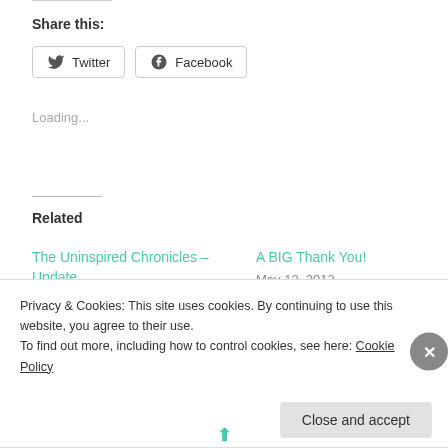Share this:
Twitter  Facebook
Loading...
Related
The Uninspired Chronicles – Update
April 12, 2012
In "give aways"
A BIG Thank You!
May 12, 2012
In "2012"
Privacy & Cookies: This site uses cookies. By continuing to use this website, you agree to their use.
To find out more, including how to control cookies, see here: Cookie Policy
Close and accept